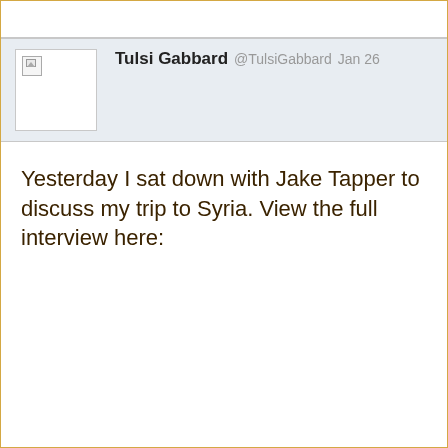[Figure (screenshot): Tweet from Tulsi Gabbard (@TulsiGabbard) dated Jan 26, with a broken avatar image placeholder]
Yesterday I sat down with Jake Tapper to discuss my trip to Syria. View the full interview here: